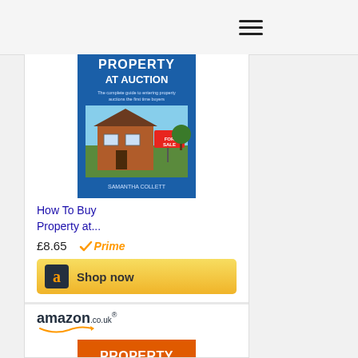[Figure (screenshot): Hamburger menu icon (three horizontal lines) on a light grey top bar]
[Figure (photo): Book cover: 'Property at Auction' showing a house with for sale sign, blue and white cover]
How To Buy Property at...
£8.65
[Figure (logo): Amazon Prime checkmark badge in orange]
[Figure (screenshot): Amazon 'Shop now' button with black 'a' logo on yellow/gold gradient background]
[Figure (logo): amazon.co.uk logo in black with orange arrow]
[Figure (photo): Book cover: 'Property Investment: The Essential Rules' orange cover with stamp design]
Property Investment:...
£9.99
[Figure (logo): Amazon Prime checkmark badge in orange]